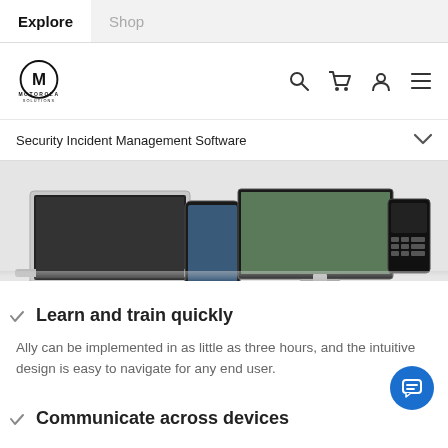Explore  Shop
[Figure (logo): Motorola Solutions logo with circular M emblem and icons for search, cart, account, and menu]
Security Incident Management Software
[Figure (photo): Hero image showing laptop, smartphone, monitor, and radio device with security software displayed]
Learn and train quickly
Ally can be implemented in as little as three hours, and the intuitive design is easy to navigate for any end user.
Communicate across devices